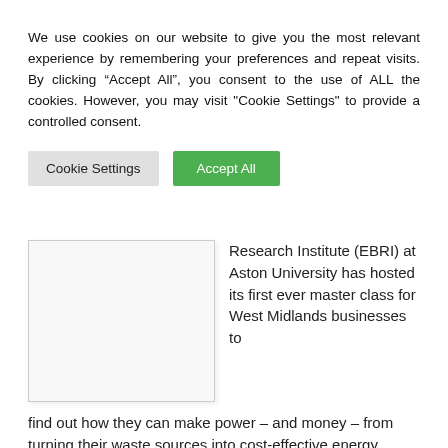We use cookies on our website to give you the most relevant experience by remembering your preferences and repeat visits. By clicking “Accept All”, you consent to the use of ALL the cookies. However, you may visit "Cookie Settings" to provide a controlled consent.
Cookie Settings | Accept All
[Figure (photo): A placeholder image box with light gray background and border, representing an article image.]
Research Institute (EBRI) at Aston University has hosted its first ever master class for West Midlands businesses to find out how they can make power – and money – from turning their waste sources into cost-effective energy.
Business leaders from large corporates and SMEs